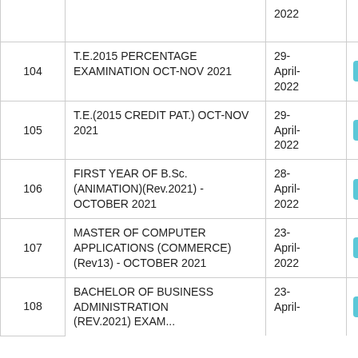| # | Examination | Date | Action |
| --- | --- | --- | --- |
|  |  | 2022 | Go for Res... |
| 104 | T.E.2015 PERCENTAGE EXAMINATION OCT-NOV 2021 | 29-April-2022 | Go for Res... |
| 105 | T.E.(2015 CREDIT PAT.) OCT-NOV 2021 | 29-April-2022 | Go for Res... |
| 106 | FIRST YEAR OF B.Sc. (ANIMATION)(Rev.2021) - OCTOBER 2021 | 28-April-2022 | Go for Res... |
| 107 | MASTER OF COMPUTER APPLICATIONS (COMMERCE)(Rev13) - OCTOBER 2021 | 23-April-2022 | Go for Res... |
| 108 | BACHELOR OF BUSINESS ADMINISTRATION (Rev.2021) EXAM... | 23-April-... | Go for Res... |